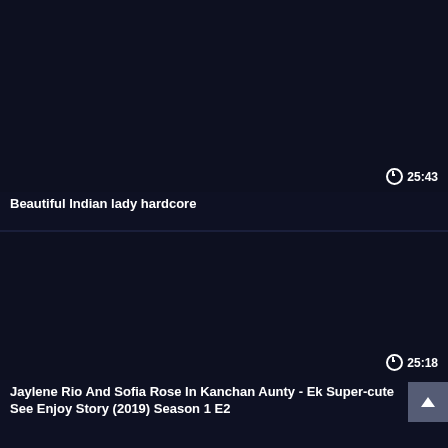[Figure (screenshot): Dark thumbnail placeholder for video card 1]
25:43
Beautiful Indian lady hardcore
[Figure (screenshot): Dark thumbnail placeholder for video card 2]
25:18
Jaylene Rio And Sofia Rose In Kanchan Aunty - Ek Super-cute See Enjoy Story (2019) Season 1 E2